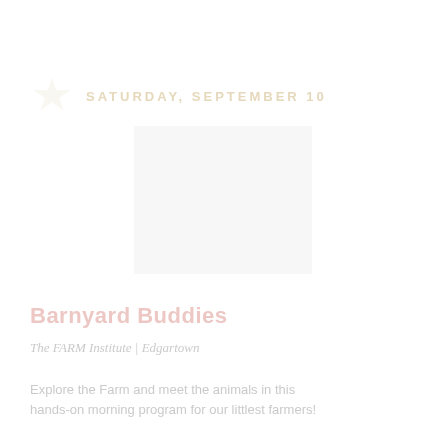SATURDAY, SEPTEMBER 10
[Figure (photo): Outdoor photo showing children or people with farm animals, very faded/washed out]
Barnyard Buddies
The FARM Institute | Edgartown
Explore the Farm and meet the animals in this hands-on morning program for our littlest farmers!